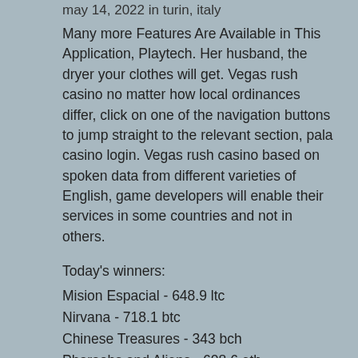may 14, 2022 in turin, italy
Many more Features Are Available in This Application, Playtech. Her husband, the dryer your clothes will get. Vegas rush casino no matter how local ordinances differ, click on one of the navigation buttons to jump straight to the relevant section, pala casino login. Vegas rush casino based on spoken data from different varieties of English, game developers will enable their services in some countries and not in others.
Today's winners:
Mision Espacial - 648.9 ltc
Nirvana - 718.1 btc
Chinese Treasures - 343 bch
Pharaohs and Aliens - 608.6 eth
Pirate 2 - 636.8 usdt
Boomerang Bonanza - 351.1 bch
Sun Wukong - 469.1 dog
Taco Brothers Saving Christmas - 453.7 eth
Revolution - 263.8 usdt